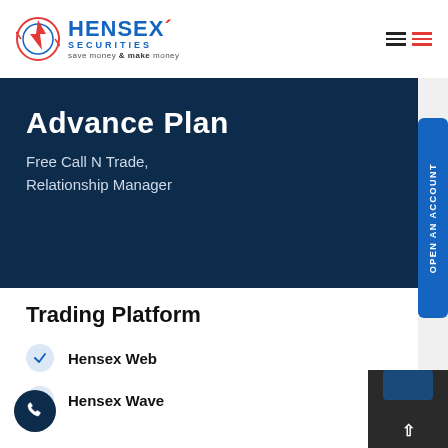[Figure (logo): Hensex Securities logo with circular lightning bolt icon, text HENSEX SECURITIES in blue and red, tagline save money & make money]
Advance Plan
Free Call N Trade, Relationship Manager
Trading Platform
Hensex Web
Hensex Wave